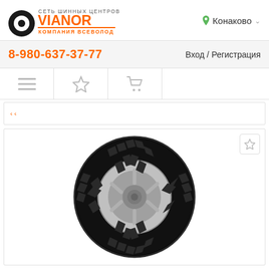[Figure (logo): Vianor tire center network logo with orange text and company name]
Конаково
8-980-637-37-77
Вход / Регистрация
[Figure (illustration): Navigation bar with hamburger menu icon, star/favorites icon, and shopping cart icon]
[Figure (photo): A truck tire (large commercial vehicle tire with deep tread pattern) mounted on a silver rim, shown against white background]